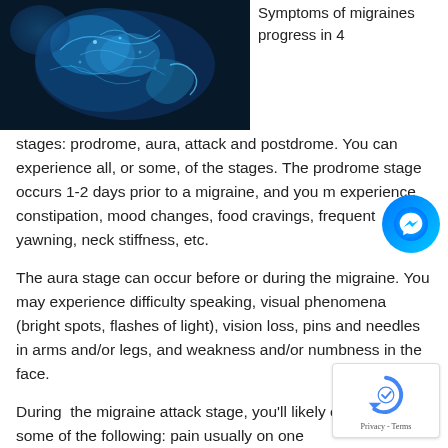[Figure (photo): Medical illustration of a human brain/spine glowing in blue tones against dark background]
Symptoms of migraines progress in 4 stages: prodrome, aura, attack and postdrome. You can experience all, or some, of the stages. The prodrome stage occurs 1-2 days prior to a migraine, and you may experience constipation, mood changes, food cravings, frequent yawning, neck stiffness, etc.
The aura stage can occur before or during the migraine. You may experience difficulty speaking, visual phenomena (bright spots, flashes of light), vision loss, pins and needles in arms and/or legs, and weakness and/or numbness in the face.
During  the migraine attack stage, you'll likely experience some of the following: pain usually on one